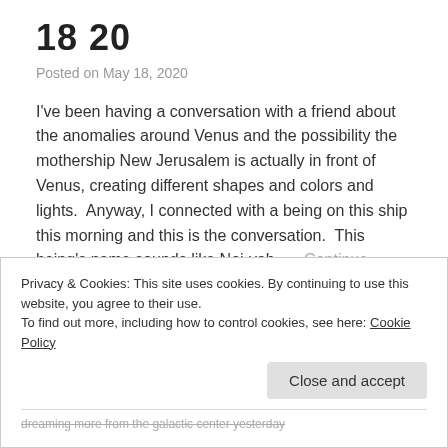18  20
Posted on May 18, 2020
I've been having a conversation with a friend about the anomalies around Venus and the possibility the mothership New Jerusalem is actually in front of Venus, creating different shapes and colors and lights.  Anyway, I connected with a being on this ship this morning and this is the conversation.  This being's name sounds like Noi-yah. … Continue reading →
Privacy & Cookies: This site uses cookies. By continuing to use this website, you agree to their use.
To find out more, including how to control cookies, see here: Cookie Policy
Close and accept